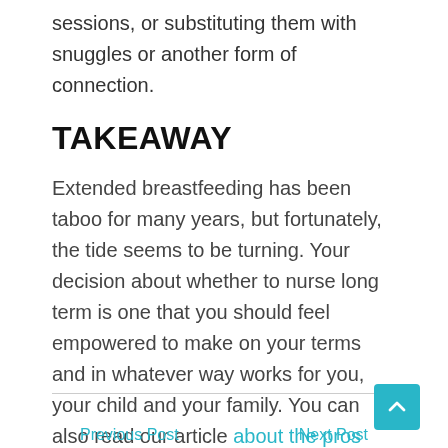sessions, or substituting them with snuggles or another form of connection.
TAKEAWAY
Extended breastfeeding has been taboo for many years, but fortunately, the tide seems to be turning. Your decision about whether to nurse long term is one that you should feel empowered to make on your terms and in whatever way works for you, your child and your family. You can also read our article about the pros and cons of breastfeeding.
Previous Post   Next Post